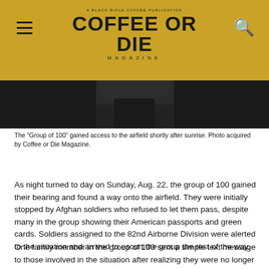COFFEE OR DIE MAGAZINE
[Figure (photo): Dark photo strip showing a person at an airfield, partially visible at bottom edge of header area]
The “Group of 100” gained access to the airfield shortly after sunrise. Photo acquired by Coffee or Die Magazine.
As night turned to day on Sunday, Aug. 22, the group of 100 gained their bearing and found a way onto the airfield. They were initially stopped by Afghan soldiers who refused to let them pass, despite many in the group showing their American passports and green cards. Soldiers assigned to the 82nd Airborne Division were alerted to the situation and arrived to escort the group the rest of the way.
One family member in the group of 100 sent a simple text message to those involved in the situation after realizing they were no longer in